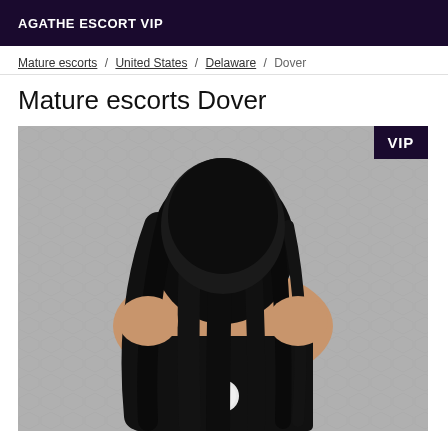AGATHE ESCORT VIP
Mature escorts / United States / Delaware / Dover
Mature escorts Dover
[Figure (photo): A woman with long dark hair viewed from behind, wearing a black outfit with a white circular detail at the back, against a textured grey hexagonal pattern background. A VIP badge appears in the top-right corner of the image.]